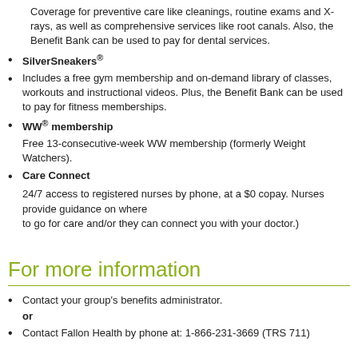Coverage for preventive care like cleanings, routine exams and X-rays, as well as comprehensive services like root canals. Also, the Benefit Bank can be used to pay for dental services.
SilverSneakers®
Includes a free gym membership and on-demand library of classes, workouts and instructional videos. Plus, the Benefit Bank can be used to pay for fitness memberships.
WW® membership
Free 13-consecutive-week WW membership (formerly Weight Watchers).
Care Connect
24/7 access to registered nurses by phone, at a $0 copay. Nurses provide guidance on where to go for care and/or they can connect you with your doctor.)
For more information
Contact your group's benefits administrator. or
Contact Fallon Health by phone at: 1-866-231-3669 (TRS 711)